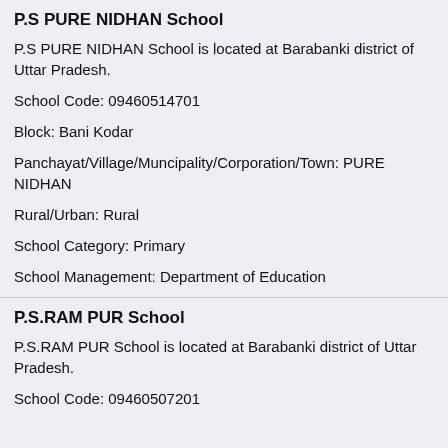P.S PURE NIDHAN School
P.S PURE NIDHAN School is located at Barabanki district of Uttar Pradesh.
School Code: 09460514701
Block: Bani Kodar
Panchayat/Village/Muncipality/Corporation/Town: PURE NIDHAN
Rural/Urban: Rural
School Category: Primary
School Management: Department of Education
P.S.RAM PUR School
P.S.RAM PUR School is located at Barabanki district of Uttar Pradesh.
School Code: 09460507201